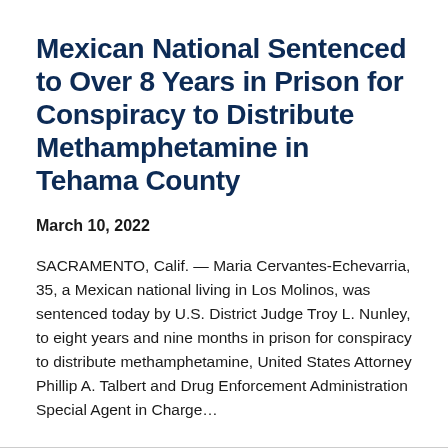Mexican National Sentenced to Over 8 Years in Prison for Conspiracy to Distribute Methamphetamine in Tehama County
March 10, 2022
SACRAMENTO, Calif. — Maria Cervantes-Echevarria, 35, a Mexican national living in Los Molinos, was sentenced today by U.S. District Judge Troy L. Nunley, to eight years and nine months in prison for conspiracy to distribute methamphetamine, United States Attorney Phillip A. Talbert and Drug Enforcement Administration Special Agent in Charge...